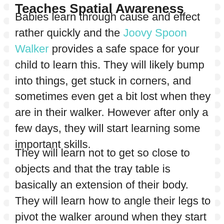Teaches Spatial Awareness
Babies learn through cause and effect rather quickly and the Joovy Spoon Walker provides a safe space for your child to learn this. They will likely bump into things, get stuck in corners, and sometimes even get a bit lost when they are in their walker. However after only a few days, they will start learning some important skills.
They will learn not to get so close to objects and that the tray table is basically an extension of their body. They will learn how to angle their legs to pivot the walker around when they start